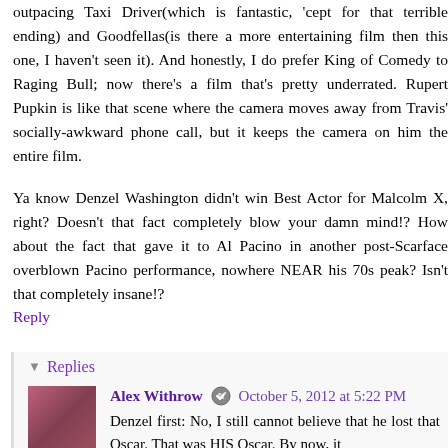outpacing Taxi Driver(which is fantastic, 'cept for that terrible ending) and Goodfellas(is there a more entertaining film then this one, I haven't seen it). And honestly, I do prefer King of Comedy to Raging Bull; now there's a film that's pretty underrated. Rupert Pupkin is like that scene where the camera moves away from Travis' socially-awkward phone call, but it keeps the camera on him the entire film.
Ya know Denzel Washington didn't win Best Actor for Malcolm X, right? Doesn't that fact completely blow your damn mind!? How about the fact that gave it to Al Pacino in another post-Scarface overblown Pacino performance, nowhere NEAR his 70s peak? Isn't that completely insane!?
Reply
Replies
Alex Withrow
October 5, 2012 at 5:22 PM
Denzel first: No, I still cannot believe that he lost that Oscar. That was HIS Oscar. By now, it